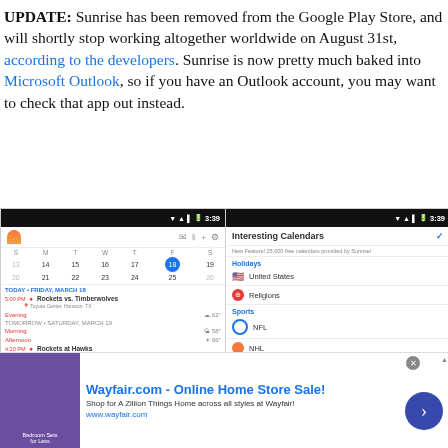UPDATE: Sunrise has been removed from the Google Play Store, and will shortly stop working altogether worldwide on August 31st, according to the developers. Sunrise is now pretty much baked into Microsoft Outlook, so if you have an Outlook account, you may want to check that app out instead.
[Figure (screenshot): Left screenshot of Sunrise calendar app showing March 18 calendar with events including Rockets vs. Timberwolves at 5:00 PM and weather info]
[Figure (screenshot): Right screenshot of Sunrise app showing Interesting Calendars panel with Holidays (United States, Religions) and Sports (NFL, NHL, MLB) sections]
[Figure (screenshot): Ad banner for Wayfair.com - Online Home Store Sale! with bedroom sets image and navigation arrow]